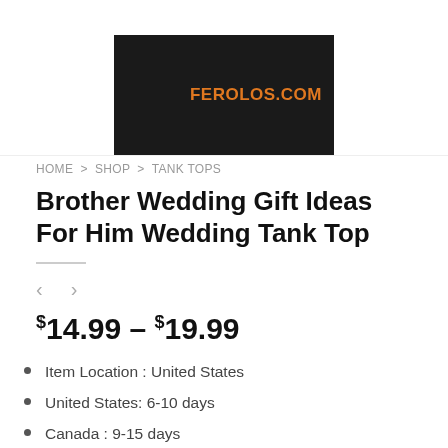[Figure (photo): Product image: black tank top with FEROLOS.COM text in orange on the right side, shown against white background. Top navigation bar with blue and red logo elements partially visible.]
HOME > SHOP > TANK TOPS
Brother Wedding Gift Ideas For Him Wedding Tank Top
$14.99 – $19.99
Item Location : United States
United States: 6-10 days
Canada : 9-15 days
Europe / Worldwide : 15-20 days
Tracking Number Available (USPS)